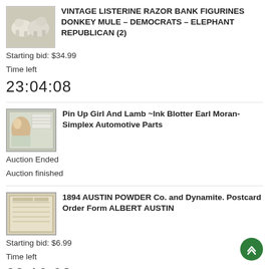[Figure (photo): Thumbnail of vintage Listerine razor bank figurines - donkey mule and elephant]
VINTAGE LISTERINE RAZOR BANK FIGURINES DONKEY MULE – DEMOCRATS – ELEPHANT REPUBLICAN (2)
Starting bid: $34.99
Time left
23:04:08
[Figure (photo): Thumbnail of Pin Up Girl And Lamb ink blotter - Simplex Automotive Parts]
Pin Up Girl And Lamb ~Ink Blotter Earl Moran-Simplex Automotive Parts
Auction Ended
Auction finished
[Figure (photo): Thumbnail of 1894 Austin Powder Co. and Dynamite postcard order form]
1894 AUSTIN POWDER Co. and Dynamite. Postcard Order Form ALBERT AUSTIN
Starting bid: $6.99
Time left
23:10:08
[Figure (photo): Thumbnail of Kelvinator Refrigerator Advertisement Flyer #9510 - blue background with 'Now! Your Budget']
KELVINATOR REFRIGERATOR ADVERTISEMENT FLYER #9510